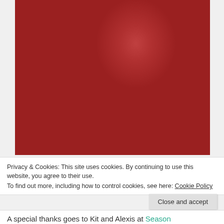[Figure (photo): A collection of heirloom tomatoes of various sizes and colors — large red, pink, orange, green, and small yellow pear-shaped tomatoes — arranged in a grey stone bowl or surface.]
Privacy & Cookies: This site uses cookies. By continuing to use this website, you agree to their use.
To find out more, including how to control cookies, see here: Cookie Policy
Close and accept
A special thanks goes to Kit and Alexis at Season